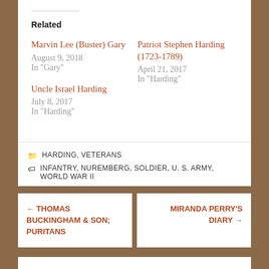Related
Marvin Lee (Buster) Gary
August 9, 2018
In "Gary"
Patriot Stephen Harding (1723-1789)
April 21, 2017
In "Harding"
Uncle Israel Harding
July 8, 2017
In "Harding"
HARDING, VETERANS
INFANTRY, NUREMBERG, SOLDIER, U. S. ARMY, WORLD WAR II
← THOMAS BUCKINGHAM & SON; PURITANS
MIRANDA PERRY'S DIARY →